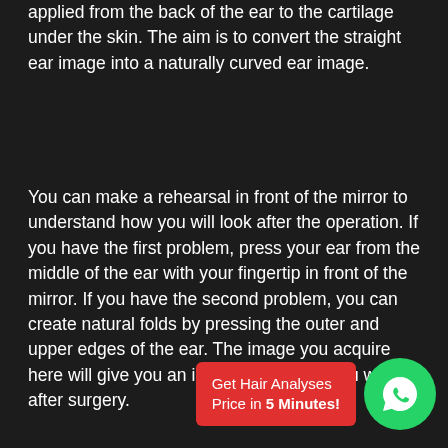applied from the back of the ear to the cartilage under the skin. The aim is to convert the straight ear image into a naturally curved ear image.
You can make a rehearsal in front of the mirror to understand how you will look after the operation. If you have the first problem, press your ear from the middle of the ear with your fingertip in front of the mirror. If you have the second problem, you can create natural folds by pressing the outer and upper edges of the ear. The image you acquire here will give you an idea of the image you will get after surgery.
[Figure (other): Red CTA button reading 'Get Hair Analyses Price in 5 Minutes!' with a green WhatsApp circular icon button beside it]